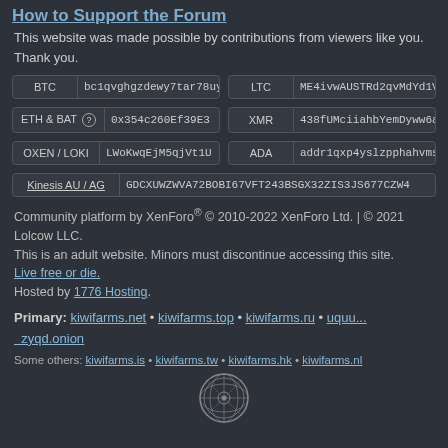How to Support the Forum
This website was made possible by contributions from viewers like you. Thank you.
| Currency | Address |
| --- | --- |
| BTC | bc1qvghgzdewy7tar78uy |
| LTC | ME4ivwAUSTRd2qvMdYd1V |
| ETH & BAT | 0x354c260Ef39E3 |
| XMR | 438fUMciiahbYemDyww6a |
| OXEN / LOKI | LWoKwqEjM5qjVt1U |
| ADA | addr1qxp4yslzpphahvms |
| Kinesis AU / AG | GDCXUWZWVA72BOBI67VFT243BSGX32ZIS3JS677CZW4 |
Community platform by XenForo® © 2010-2022 XenForo Ltd. | © 2021 Lolcow LLC.
This is an adult website. Minors must discontinue accessing this site.
Live free or die.
Hosted by 1776 Hosting.
Primary: kiwifarms.net • kiwifarms.top • kiwifarms.ru • uquu...zyqd.onion
Some others: kiwifarms.is • kiwifarms.tw • kiwifarms.hk • kiwifarms.nl
[Figure (logo): Circular logo/seal at the bottom center]